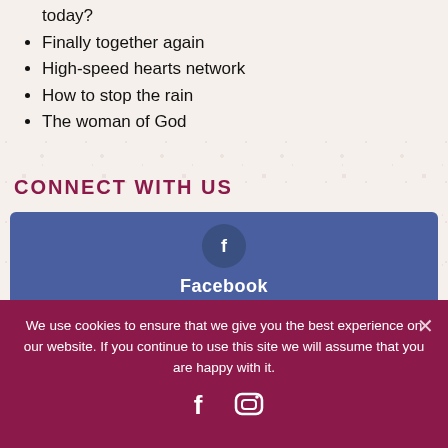today?
Finally together again
High-speed hearts network
How to stop the rain
The woman of God
CONNECT WITH US
[Figure (other): Facebook social media button with Facebook 'f' icon in dark blue circle on blue background]
[Figure (other): YouTube social media button with play button icon in dark red circle on red background]
We use cookies to ensure that we give you the best experience on our website. If you continue to use this site we will assume that you are happy with it.
[Figure (other): Footer social media icons: Facebook 'f' and Instagram camera icon in white on dark pink/maroon background]